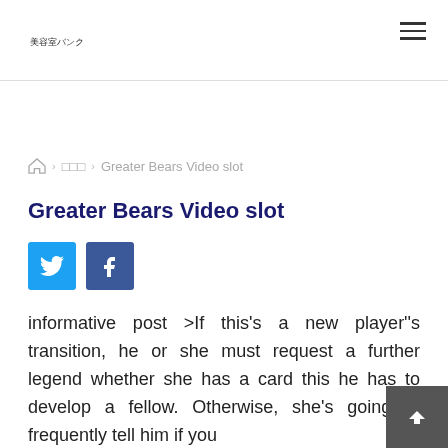美容室バンク
› □□□ › Greater Bears Video slot
Greater Bears Video slot
[Figure (other): Twitter and Facebook social share buttons]
informative post >If this's a new player''s transition, he or she must request a further legend whether she has a card this he has to develop a fellow. Otherwise, she's going to frequently tell him if you